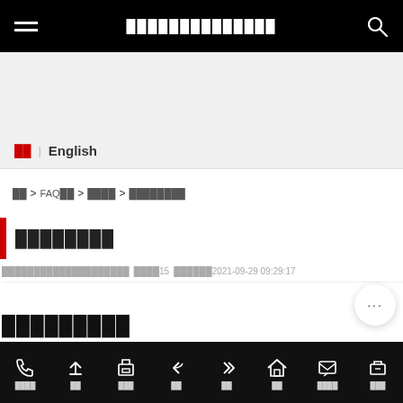██████████████
██ | English
██ > FAQ██ > ████ > ████████
████████
████████████████████  ████15  ██████2021-09-29 09:29:17
█████████
████ ██ ███ ██ ██ ██ ████ ███